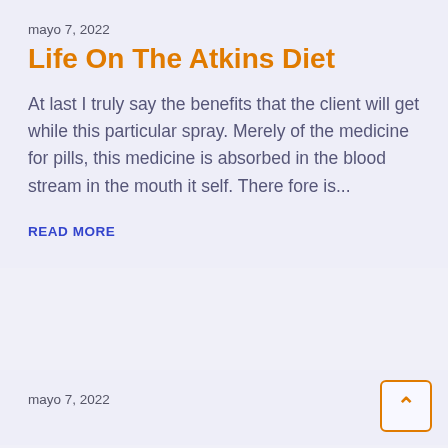mayo 7, 2022
Life On The Atkins Diet
At last I truly say the benefits that the client will get while this particular spray. Merely of the medicine for pills, this medicine is absorbed in the blood stream in the mouth it self. There fore is...
READ MORE
mayo 7, 2022
...